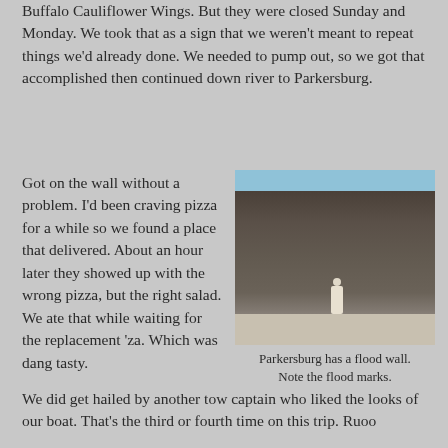Buffalo Cauliflower Wings. But they were closed Sunday and Monday. We took that as a sign that we weren't meant to repeat things we'd already done. We needed to pump out, so we got that accomplished then continued down river to Parkersburg.
Got on the wall without a problem. I'd been craving pizza for a while so we found a place that delivered. About an hour later they showed up with the wrong pizza, but the right salad. We ate that while waiting for the replacement 'za. Which was dang tasty.
[Figure (photo): A large concrete flood wall in Parkersburg with a person standing in front of it with arms outstretched to show scale. Flood marks are visible on the wall. Blue sky visible through an opening.]
Parkersburg has a flood wall.
Note the flood marks.
We did get hailed by another tow captain who liked the looks of our boat. That's the third or fourth time on this trip. Ruoo